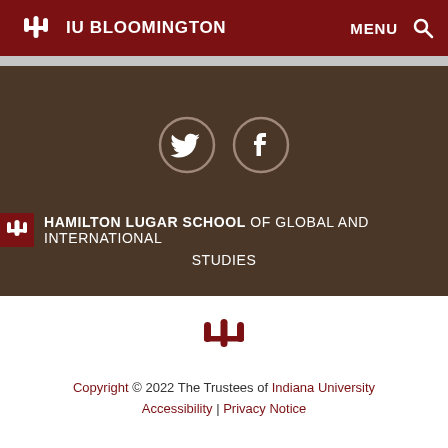IU Bloomington MENU
[Figure (logo): IU trident logo in white on dark red background in header]
[Figure (illustration): Twitter and Facebook social media icons as white symbols in circular outlines on dark brown background]
HAMILTON LUGAR SCHOOL OF GLOBAL AND INTERNATIONAL STUDIES
[Figure (logo): IU trident logo in red on white background in footer]
Copyright © 2022 The Trustees of Indiana University Accessibility | Privacy Notice